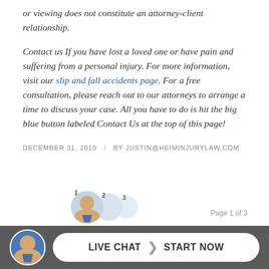or viewing does not constitute an attorney-client relationship.
Contact us If you have lost a loved one or have pain and suffering from a personal injury.  For more information, visit our slip and fall accidents page. For a free consultation, please reach out to our attorneys to arrange a time to discuss your case.  All you have to do is hit the big blue button labeled Contact Us at the top of this page!
DECEMBER 31, 2019  /  BY JUSTIN@HEIMINJURYLAW.COM
Page 1 of 3